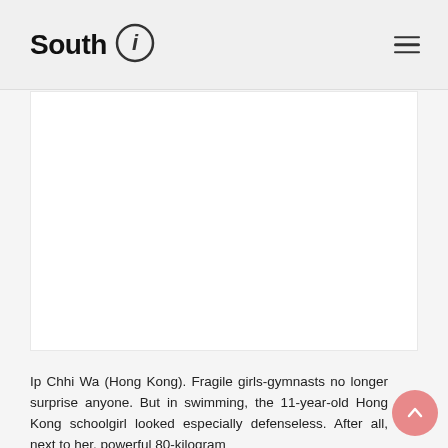South i
[Figure (other): Advertisement or placeholder white rectangle area]
Ip Chhi Wa (Hong Kong). Fragile girls-gymnasts no longer surprise anyone. But in swimming, the 11-year-old Hong Kong schoolgirl looked especially defenseless. After all, next to her, powerful 80-kilogram